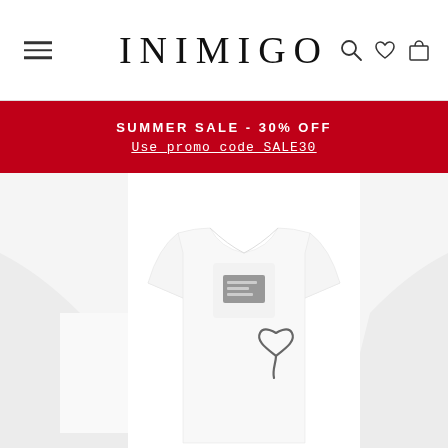INIMIGO
SUMMER SALE - 30% OFF
Use promo code SALE30
[Figure (photo): White t-shirt product photograph on a model, showing INIMIGO brand label on chest pocket area and a hand-drawn style heart logo graphic below on the shirt. Three product images visible side by side.]